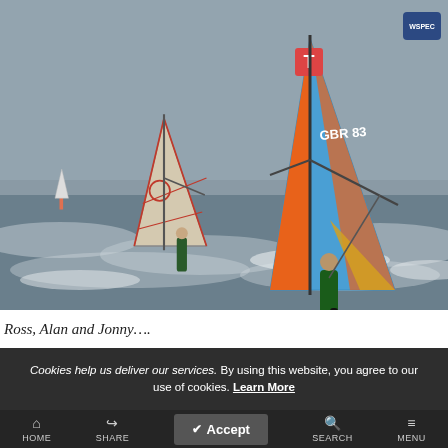[Figure (photo): Three windsurfers racing on choppy grey sea water. The foreground surfer wears a green wetsuit and rides a blue sail with orange trim marked 'GBR 83' and a 'T' logo. Behind are two more surfers with white/brown and white/red sails. The sky is overcast grey. A small logo/watermark is visible in the upper-right corner.]
Ross, Alan and Jonny....
Cookies help us deliver our services. By using this website, you agree to our use of cookies. Learn More
HOME   SHARE   Accept   SEARCH   MENU